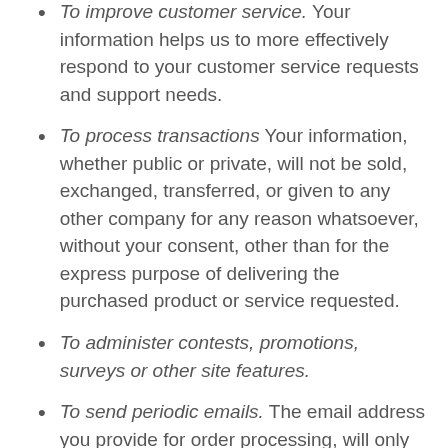To improve customer service. Your information helps us to more effectively respond to your customer service requests and support needs.
To process transactions Your information, whether public or private, will not be sold, exchanged, transferred, or given to any other company for any reason whatsoever, without your consent, other than for the express purpose of delivering the purchased product or service requested.
To administer contests, promotions, surveys or other site features.
To send periodic emails. The email address you provide for order processing, will only be used to send you information and updates pertaining to your order. If you decide to opt-in to our mailing list, you will receive emails that may include